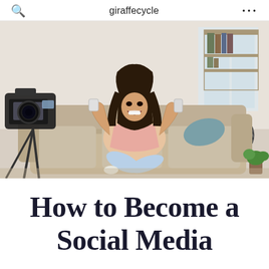giraffecycle
[Figure (photo): A young woman with long dark hair sits cross-legged on a beige sofa, smiling and holding two small objects (possibly compacts or phones) up in both hands. She wears a pink top and light blue jeans. A camera on a tripod is in the foreground on the left. A bicycle and bookshelf are visible in the background.]
How to Become a Social Media